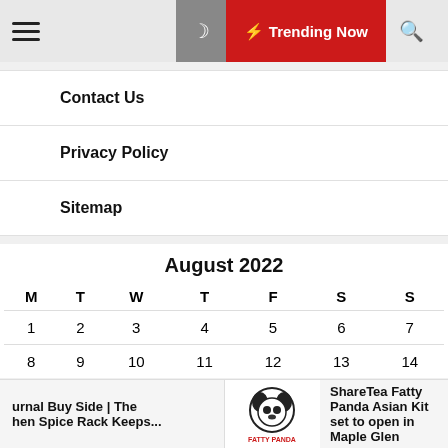Trending Now
Contact Us
Privacy Policy
Sitemap
| M | T | W | T | F | S | S |
| --- | --- | --- | --- | --- | --- | --- |
| 1 | 2 | 3 | 4 | 5 | 6 | 7 |
| 8 | 9 | 10 | 11 | 12 | 13 | 14 |
urnal Buy Side | The hen Spice Rack Keeps...
ShareTea Fatty Panda Asian Kit set to open in Maple Glen